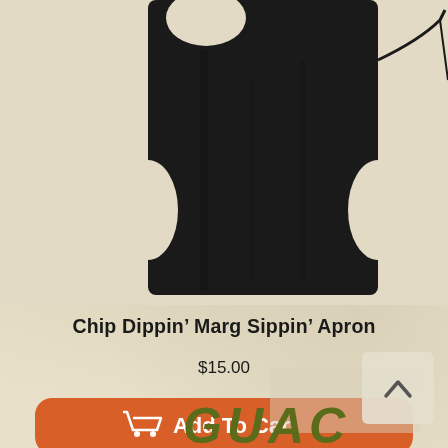[Figure (photo): Black cooking apron partially visible at top of page with tie strings visible on right side, shown against a beige textured background]
Chip Dippin’ Marg Sippin’ Apron
$15.00
[Figure (other): Orange 'Add To Cart' button with shopping cart icon and white text]
[Figure (other): Partial preview of next product image and GUAC text logo at bottom of page]
[Figure (other): Scroll-to-top button (chevron up arrow) in bottom right corner]